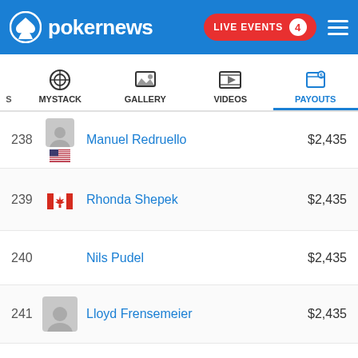pokernews — LIVE EVENTS 4
[Figure (screenshot): PokerNews website navigation bar with logo, LIVE EVENTS button showing 4, and hamburger menu]
| Place | Player | Payout |
| --- | --- | --- |
| 238 | Manuel Redruello | $2,435 |
| 239 | Rhonda Shepek | $2,435 |
| 240 | Nils Pudel | $2,435 |
| 241 | Lloyd Frensemeier | $2,435 |
| 242 | Dustin Panoff | $2,435 |
| 243 | Eduardo Dubischar | $2,435 |